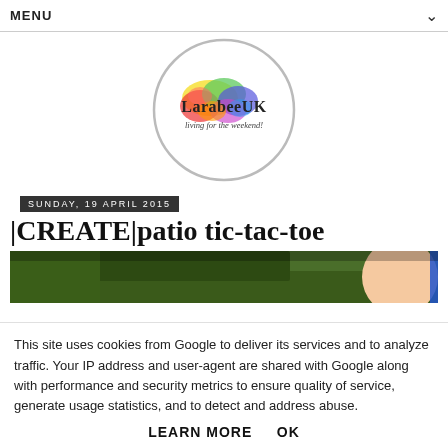MENU
[Figure (logo): LarabeeUK blog logo — circular border with colorful paint splash background, text 'LarabeeUK' and subtitle 'living for the weekend!']
SUNDAY, 19 APRIL 2015
|CREATE|patio tic-tac-toe
[Figure (photo): Partial photo showing grass and a child's face]
This site uses cookies from Google to deliver its services and to analyze traffic. Your IP address and user-agent are shared with Google along with performance and security metrics to ensure quality of service, generate usage statistics, and to detect and address abuse.
LEARN MORE    OK